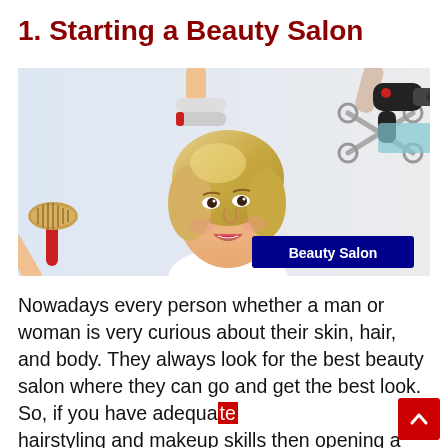1. Starting a Beauty Salon
[Figure (photo): A smiling blonde woman in a beauty salon surrounded by multiple hands holding hair tools: a hair dryer, scissors, a flat iron, and a round brush. A dark blue banner in the lower right reads 'Beauty Salon'.]
Nowadays every person whether a man or woman is very curious about their skin, hair, and body. They always look for the best beauty salon where they can go and get the best look. So, if you have adequate hairstyling and makeup skills then opening a beauty salon is the best business idea for you.